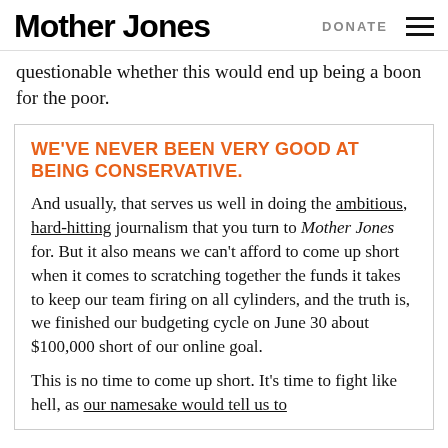Mother Jones   DONATE
questionable whether this would end up being a boon for the poor.
WE'VE NEVER BEEN VERY GOOD AT BEING CONSERVATIVE.
And usually, that serves us well in doing the ambitious, hard-hitting journalism that you turn to Mother Jones for. But it also means we can't afford to come up short when it comes to scratching together the funds it takes to keep our team firing on all cylinders, and the truth is, we finished our budgeting cycle on June 30 about $100,000 short of our online goal.

This is no time to come up short. It's time to fight like hell, as our namesake would tell us to